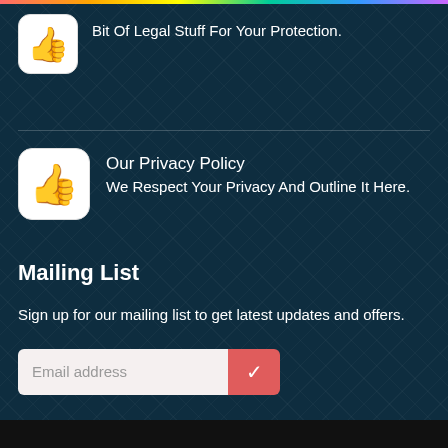Bit Of Legal Stuff For Your Protection.
Our Privacy Policy
We Respect Your Privacy And Outline It Here.
Mailing List
Sign up for our mailing list to get latest updates and offers.
[Figure (screenshot): Email address input field with a red submit checkmark button]